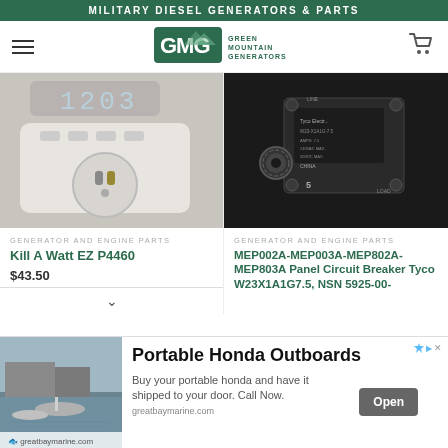MILITARY DIESEL GENERATORS & PARTS
[Figure (logo): Green Mountain Generators (GMG) logo with mountain icon inside a house/shield shape, teal background]
[Figure (photo): Kill A Watt EZ P4460 power meter device with outlet, showing digital display]
GENERATOR AND ENGINE PARTS
Kill A Watt EZ P4460
$43.50
[Figure (photo): MEP002A-MEP003A-MEP802A-MEP803A Panel Circuit Breaker Tyco W23X1A1G7.5, black circuit breaker component close-up]
GENERATOR AND ENGINE PARTS
MEP002A-MEP003A-MEP802A-MEP803A Panel Circuit Breaker Tyco W23X1A1G7.5, NSN 5925-00-
[Figure (photo): Marina with boats, advertisement image for Great Bay Marine]
Portable Honda Outboards
Buy your portable honda and have it shipped to your door. Call Now.
greatbaymarine.com